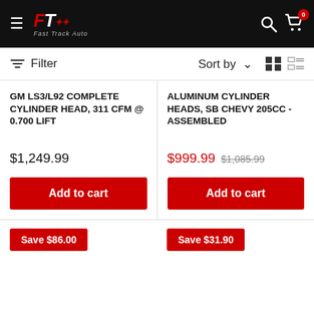Fast Track Auto - Navigation header with logo, search and cart icons
Filter  Sort by
GM LS3/L92 COMPLETE CYLINDER HEAD, 311 CFM @ 0.700 LIFT
$1,249.99
Add to cart
ALUMINUM CYLINDER HEADS, SB CHEVY 205CC - ASSEMBLED
$999.99  $1,085.99
Add to cart
Save $86.00
Save $31.90